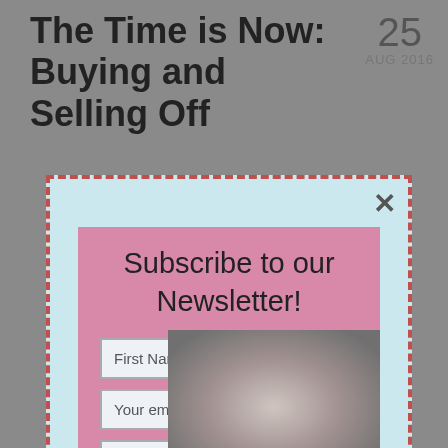The Time is Now: Buying and Selling Off
25
AUG 2016
[Figure (screenshot): Newsletter subscription popup modal on a blog article page. The modal has a pink background with the title 'Subscribe to our Newsletter!', three input fields labeled 'First Name', 'Your email address', 'Post Code', and a 'Sign up' button. The outer overlay has a light blue background with a red dashed border. A close X button appears at the top right.]